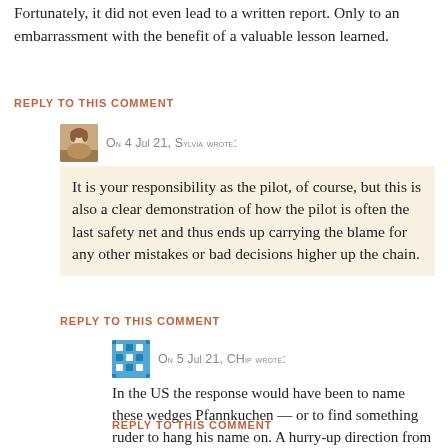Fortunately, it did not even lead to a written report. Only to an embarrassment with the benefit of a valuable lesson learned.
REPLY TO THIS COMMENT
On 4 Jul 21, Sylvia wrote:
It is your responsibility as the pilot, of course, but this is also a clear demonstration of how the pilot is often the last safety net and thus ends up carrying the blame for any other mistakes or bad decisions higher up the chain.
REPLY TO THIS COMMENT
On 5 Jul 21, CHip wrote:
In the US the response would have been to name these wedges Pfannkuchen — or to find something ruder to hang his name on. A hurry-up direction from management is an invitation to disaster.
REPLY TO THIS COMMENT